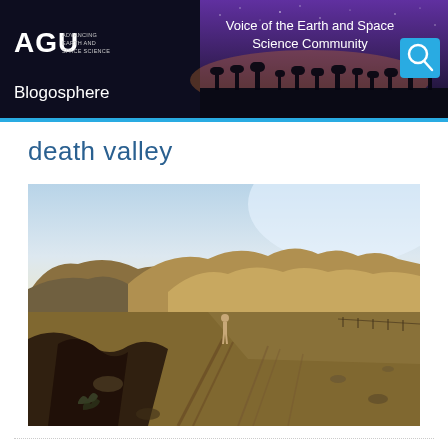AGU Blogosphere — Voice of the Earth and Space Science Community
death valley
[Figure (photo): Landscape photograph of Death Valley showing arid desert terrain with eroded hills in the background, rocky ground with tire tracks, a lone figure walking in the middle distance, and bright sky above]